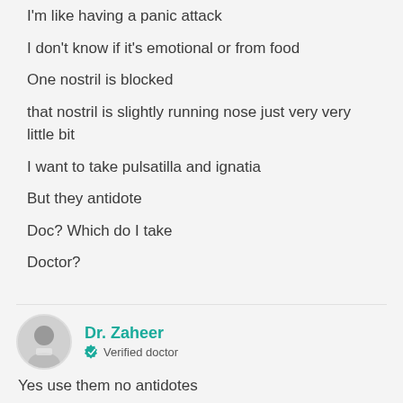I'm like having a panic attack
I don't know if it's emotional or from food
One nostril is blocked
that nostril is slightly running nose just very very little bit
I want to take pulsatilla and ignatia
But they antidote
Doc? Which do I take
Doctor?
Dr. Zaheer
Verified doctor
Yes use them no antidotes
Dr. Zaheer